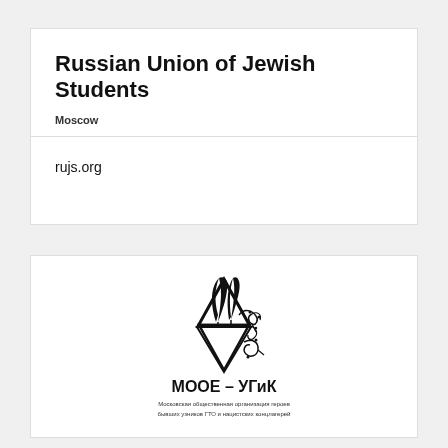Russian Union of Jewish Students
Moscow
rujs.org
[Figure (logo): Logo of МООЕ – УГиК (Московская общественная организация героев бывших узников ГТО и нацистских концлагерей) — a Star of David with feathers/quill and barbed wire imagery]
МООЕ – УГиК
Московская общественная организация героев бывших узников ГТО и нацистских концлагерей